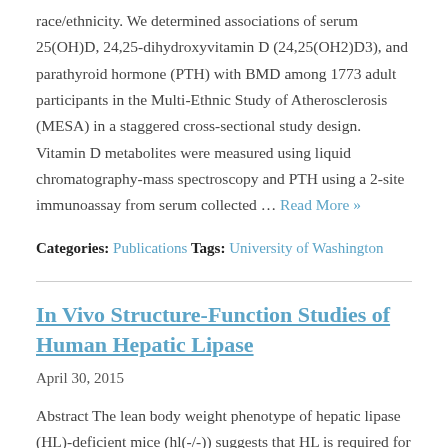race/ethnicity. We determined associations of serum 25(OH)D, 24,25-dihydroxyvitamin D (24,25(OH2)D3), and parathyroid hormone (PTH) with BMD among 1773 adult participants in the Multi-Ethnic Study of Atherosclerosis (MESA) in a staggered cross-sectional study design. Vitamin D metabolites were measured using liquid chromatography-mass spectroscopy and PTH using a 2-site immunoassay from serum collected … Read More »
Categories: Publications Tags: University of Washington
In Vivo Structure-Function Studies of Human Hepatic Lipase
April 30, 2015
Abstract The lean body weight phenotype of hepatic lipase (HL)-deficient mice (hl(-/-)) suggests that HL is required for normal